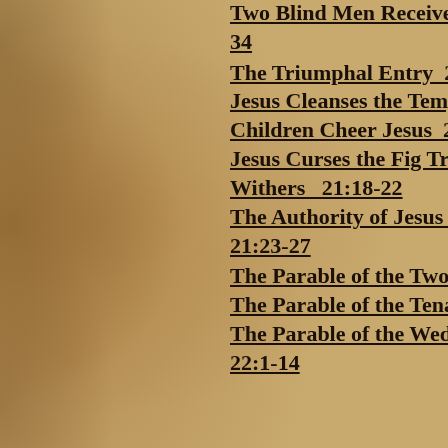Two Blind Men Receive...
34
The Triumphal Entry  2...
Jesus Cleanses the Temp...
Children Cheer Jesus  2...
Jesus Curses the Fig Tre...
Withers   21:18-22
The Authority of Jesus Q...
21:23-27
The Parable of the Two ...
The Parable of the Tenan...
The Parable of the Wedd...
22:1-14